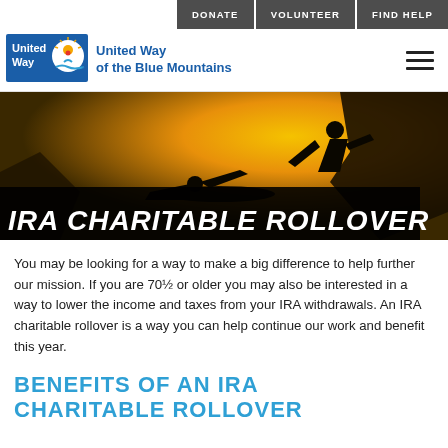DONATE  VOLUNTEER  FIND HELP
[Figure (logo): United Way of the Blue Mountains logo with icon and text]
[Figure (photo): Silhouette of two people on a cliff at sunset, one reaching down to help the other. Text overlay: IRA CHARITABLE ROLLOVER]
IRA CHARITABLE ROLLOVER
You may be looking for a way to make a big difference to help further our mission. If you are 70½ or older you may also be interested in a way to lower the income and taxes from your IRA withdrawals. An IRA charitable rollover is a way you can help continue our work and benefit this year.
BENEFITS OF AN IRA CHARITABLE ROLLOVER